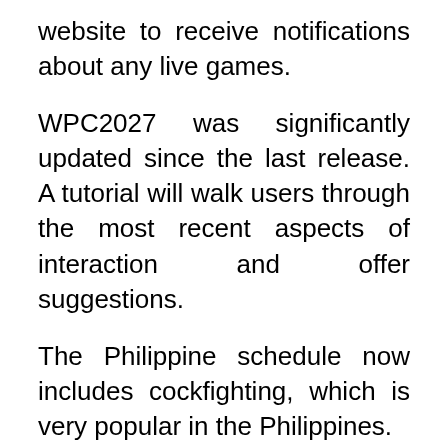website to receive notifications about any live games.
WPC2027 was significantly updated since the last release. A tutorial will walk users through the most recent aspects of interaction and offer suggestions.
The Philippine schedule now includes cockfighting, which is very popular in the Philippines.
There are many title rounds, and participants can wager on which matches will be the most successful. WPC2027 is free to download. This application also